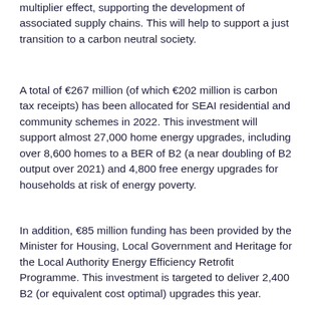multiplier effect, supporting the development of associated supply chains. This will help to support a just transition to a carbon neutral society.
A total of €267 million (of which €202 million is carbon tax receipts) has been allocated for SEAI residential and community schemes in 2022. This investment will support almost 27,000 home energy upgrades, including over 8,600 homes to a BER of B2 (a near doubling of B2 output over 2021) and 4,800 free energy upgrades for households at risk of energy poverty.
In addition, €85 million funding has been provided by the Minister for Housing, Local Government and Heritage for the Local Authority Energy Efficiency Retrofit Programme. This investment is targeted to deliver 2,400 B2 (or equivalent cost optimal) upgrades this year.